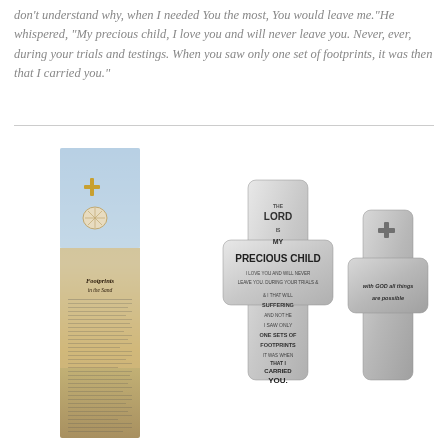don't understand why, when I needed You the most, You would leave me."He whispered, "My precious child, I love you and will never leave you. Never, ever, during your trials and testings. When you saw only one set of footprints, it was then that I carried you."
[Figure (photo): A bookmark featuring beach scene with Footprints in the Sand poem, decorated with a cross and sand dollar charms, alongside two silver metal cross tokens with text engravings including 'The Lord is MY PRECIOUS CHILD' and 'with GOD all things are possible']